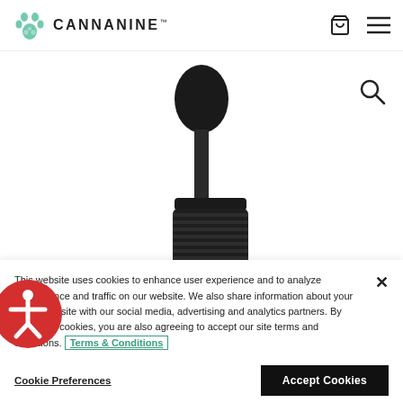[Figure (logo): Cannanine brand logo with teal paw print icon and CANNANINE text with TM mark]
[Figure (photo): Close-up photo of a dropper bottle with black cap/dropper bulb and amber glass bottle body, product image on white background]
This website uses cookies to enhance user experience and to analyze performance and traffic on our website. We also share information about your use of our site with our social media, advertising and analytics partners. By accepting cookies, you are also agreeing to accept our site terms and conditions. Terms & Conditions
Cookie Preferences
Accept Cookies